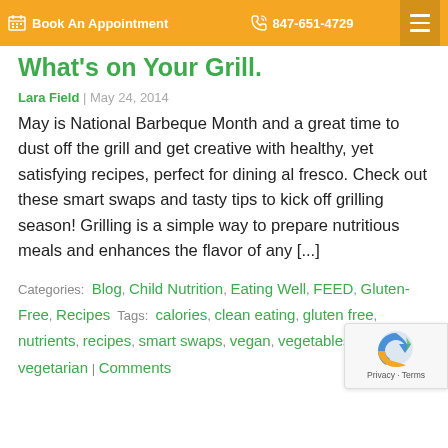Book An Appointment | 847-651-4729
What's on Your Grill?
Lara Field | May 24, 2014
May is National Barbeque Month and a great time to dust off the grill and get creative with healthy, yet satisfying recipes, perfect for dining al fresco. Check out these smart swaps and tasty tips to kick off grilling season! Grilling is a simple way to prepare nutritious meals and enhances the flavor of any [...]
Categories: Blog, Child Nutrition, Eating Well, FEED, Gluten-Free, Recipes Tags: calories, clean eating, gluten free, nutrients, recipes, smart swaps, vegan, vegetables, vegetarian | Comments